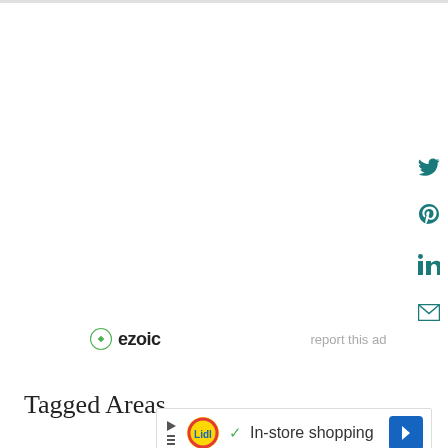[Figure (infographic): Social share sidebar with Twitter, Pinterest, LinkedIn, and email icons in teal color on the right side of the page]
[Figure (logo): Ezoic logo with green circle icon and bold text 'ezoic', followed by 'report this ad' text in gray]
Tagged Areas
[Figure (infographic): Ad banner with Lidl logo, checkmark, 'In-store shopping' text, and blue navigation arrow button]